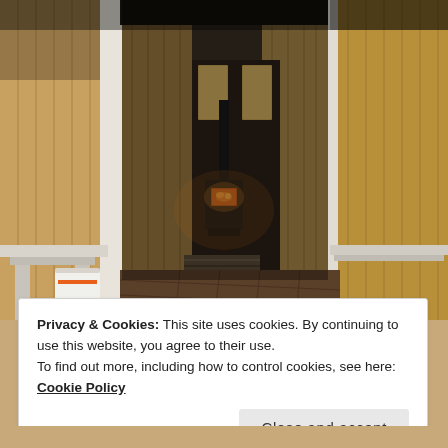[Figure (photo): Interior photo of a wooden cabin or sauna hallway, viewed from outside through an open door. The corridor has wooden plank walls in warm honey/yellow tones on the left and natural pine on the right. At the far end of the hallway is a black wood-burning stove with a fire visible through its glass door, and two small windows let in light above it. In the foreground on the left is a white wooden table or bench and an orange-and-white bucket on a wooden deck floor. On the right side is a wooden door ajar with a metal handle, and a white shelf/counter. The overall lighting is warm and dim.]
Privacy & Cookies: This site uses cookies. By continuing to use this website, you agree to their use.
To find out more, including how to control cookies, see here: Cookie Policy
Close and accept